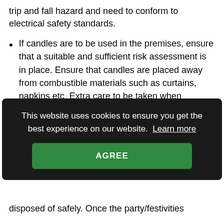trip and fall hazard and need to conform to electrical safety standards.
If candles are to be used in the premises, ensure that a suitable and sufficient risk assessment is in place. Ensure that candles are placed away from combustible materials such as curtains, napkins etc. Extra care to be taken when reaching over lit candles to serve and retrieve food or drinks. At the end of service ensure that candles are fully extinguished and stored in a safe manner such as within a metal box when you are sure that risk of re-ignition is
This website uses cookies to ensure you get the best experience on our website. Learn more
AGREE
disposed of safely. Once the party/festivities